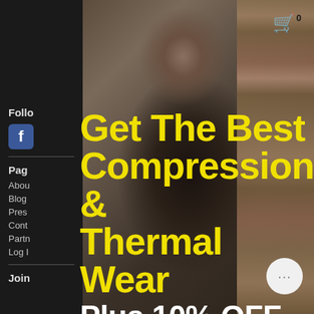[Figure (screenshot): Website screenshot showing a navigation bar with hamburger menu icon on left and shopping cart with '0' count on right, against gray background]
[Figure (photo): A man with dark hair and beard wearing a black compression shirt, photographed against a wooden background]
Follo
[Figure (logo): Facebook icon - blue square with white 'f']
Pag
Abou
Blog
Pres
Cont
Partn
Log I
Join
Get The Best Compression & Thermal Wear
Plus 10% OFF your first order!